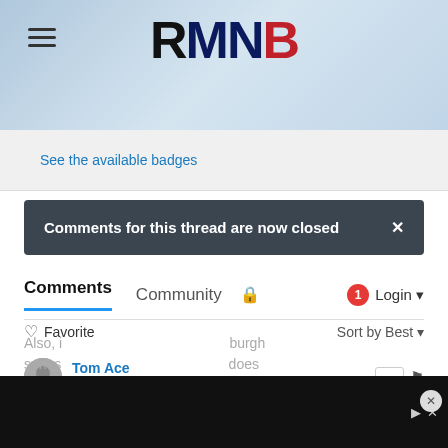[Figure (logo): RMNB logo in black, navy, and red letters]
See the available badges
Comments for this thread are now closed
Comments  Community  🔒  1  Login
♡ Favorite   Sort by Best
Tom Ace
4 years ago
Just have to remember we've played four serious contenders in 5 games. Not the best start to the season, but not that bad either.
Also, i … burgh … series … does